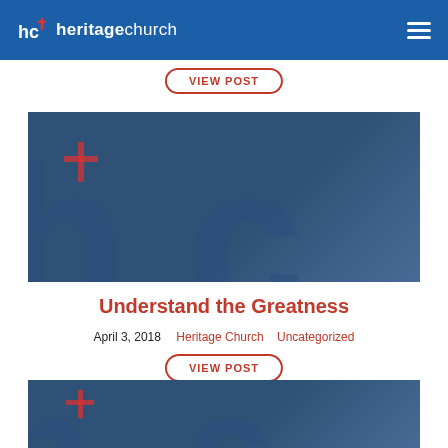heritagechurch
[Figure (screenshot): VIEW POST button (partially visible, top of page)]
[Figure (photo): Heritage Church banner image with blue overlay showing stylized HC logo letters]
Understand the Greatness
April 3, 2018   Heritage Church   Uncategorized
[Figure (screenshot): VIEW POST button]
[Figure (photo): Second Heritage Church banner image with blue overlay, partially visible at bottom]